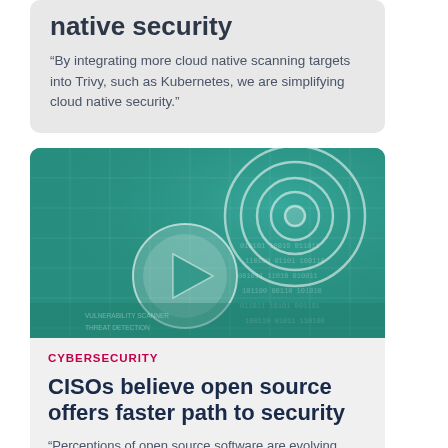native security
“By integrating more cloud native scanning targets into Trivy, such as Kubernetes, we are simplifying cloud native security.”
[Figure (illustration): Cybersecurity themed illustration with teal/green background showing concentric circle target, a play/arrow button, and digital code/grid overlay elements]
CYBERSECURITY
CISOs believe open source offers faster path to security
“Perceptions of open source software are evolving. What was once seen as